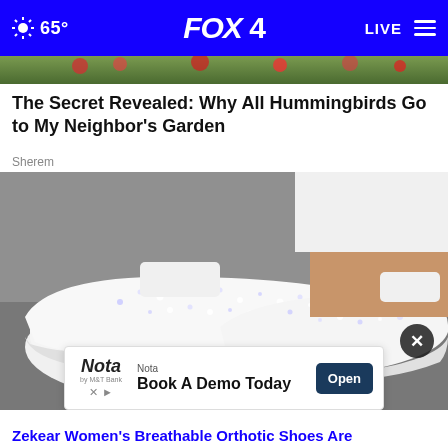65° FOX 4 LIVE
[Figure (photo): Partial view of flowers/garden image at top of article]
The Secret Revealed: Why All Hummingbirds Go to My Neighbor's Garden
Sherem
[Figure (photo): Close-up photo of white rhinestone-studded slip-on sneakers worn by a person in white pants, on a grey road surface]
Nota · Book A Demo Today · Open
Zekear Women's Breathable Orthotic Shoes Are